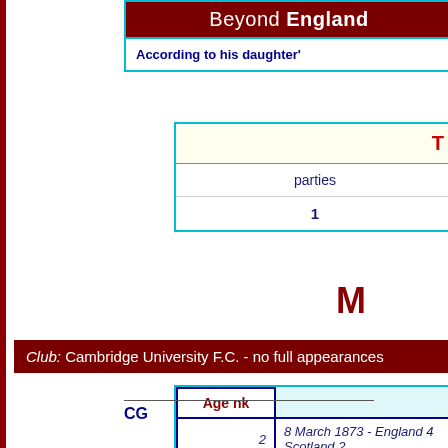Beyond England
According to his daughter'
| T | parties | 1 |
| --- | --- | --- |
M
Club: Cambridge University F.C. - no full appearances
| Age nk |  |
| --- | --- |
| 2 | 8 March 1873 - England 4 Scotland 2 |
CG